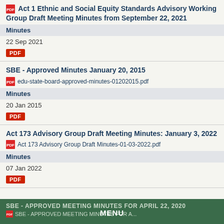Act 1 Ethnic and Social Equity Standards Advisory Working Group Draft Meeting Minutes from September 22, 2021
Minutes
22 Sep 2021
PDF
SBE - Approved Minutes January 20, 2015
edu-state-board-approved-minutes-01202015.pdf
Minutes
20 Jan 2015
PDF
Act 173 Advisory Group Draft Meeting Minutes: January 3, 2022
Act 173 Advisory Group Draft Minutes-01-03-2022.pdf
Minutes
07 Jan 2022
PDF
SBE - APPROVED MEETING MINUTES FOR April 22, 2020   MENU   SBE - APPROVED MEETING MINUTES FOR...